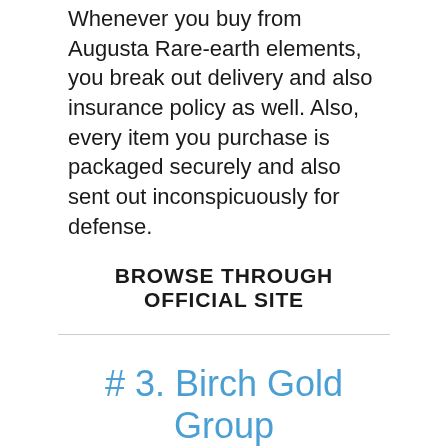Whenever you buy from Augusta Rare-earth elements, you break out delivery and also insurance policy as well. Also, every item you purchase is packaged securely and also sent out inconspicuously for defense.
BROWSE THROUGH OFFICIAL SITE
# 3. Birch Gold Group
Pros:
Precious metals are available for IRA and individual investment
A firm rep will certainly help in setting up an account